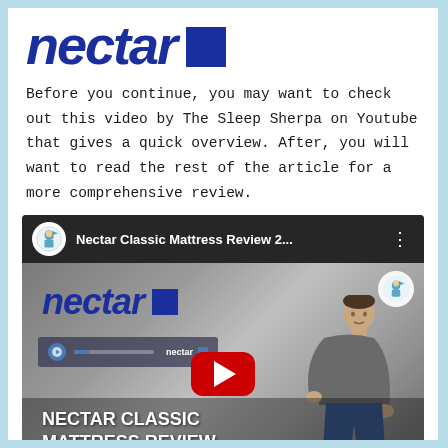[Figure (logo): Nectar brand logo — italic bold navy blue wordmark 'nectar' with a navy blue square icon to the right]
Before you continue, you may want to check out this video by The Sleep Sherpa on Youtube that gives a quick overview. After, you will want to read the rest of the article for a more comprehensive review.
[Figure (screenshot): YouTube video thumbnail for 'Nectar Classic Mattress Review 2...' by The Sleep Sherpa. Shows the Nectar logo in blue on a blurred background, a YouTube play button, a progress bar with 'nectar' label, a man in grey sweater sitting on a white mattress, and text overlay 'NECTAR CLASSIC MATTRESS REVIEW' in white bold uppercase at bottom left.]